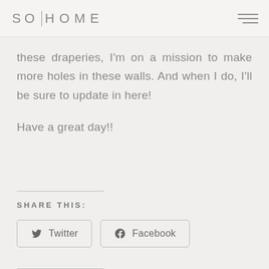SO|HOME
these draperies, I'm on a mission to make more holes in these walls. And when I do, I'll be sure to update in here!
Have a great day!!
SHARE THIS:
Twitter
Facebook